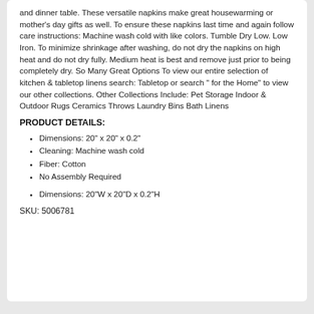and dinner table. These versatile napkins make great housewarming or mother's day gifts as well. To ensure these napkins last time and again follow care instructions: Machine wash cold with like colors. Tumble Dry Low. Low Iron. To minimize shrinkage after washing, do not dry the napkins on high heat and do not dry fully. Medium heat is best and remove just prior to being completely dry. So Many Great Options To view our entire selection of kitchen & tabletop linens search: Tabletop or search " for the Home" to view our other collections. Other Collections Include: Pet Storage Indoor & Outdoor Rugs Ceramics Throws Laundry Bins Bath Linens
PRODUCT DETAILS:
Dimensions: 20" x 20" x 0.2"
Cleaning: Machine wash cold
Fiber: Cotton
No Assembly Required
Dimensions: 20"W x 20"D x 0.2"H
SKU: 5006781